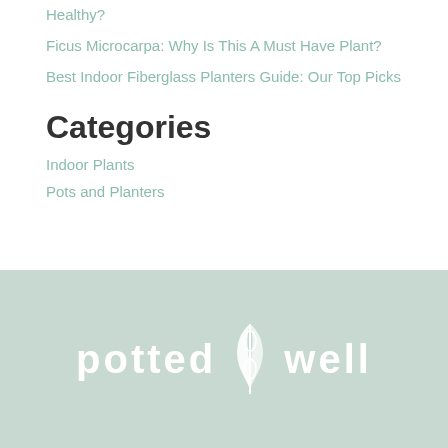Healthy?
Ficus Microcarpa: Why Is This A Must Have Plant?
Best Indoor Fiberglass Planters Guide: Our Top Picks
Categories
Indoor Plants
Pots and Planters
[Figure (logo): Potted Well logo with stylized plant icon between the words POTTED and WELL in white on a sage green background]